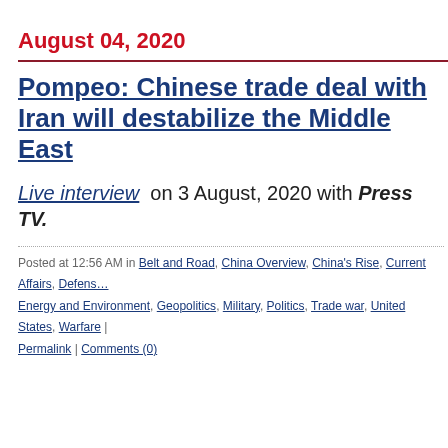August 04, 2020
Pompeo: Chinese trade deal with Iran will destabilize the Middle East
Live interview on 3 August, 2020 with Press TV.
Posted at 12:56 AM in Belt and Road, China Overview, China's Rise, Current Affairs, Defense, Energy and Environment, Geopolitics, Military, Politics, Trade war, United States, Warfare | Permalink | Comments (0)